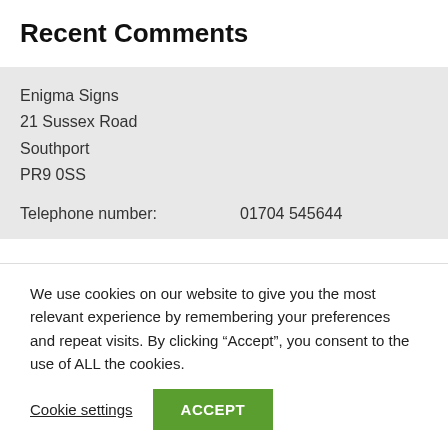Recent Comments
Enigma Signs
21 Sussex Road
Southport
PR9 0SS
Telephone number:   01704 545644
We use cookies on our website to give you the most relevant experience by remembering your preferences and repeat visits. By clicking “Accept”, you consent to the use of ALL the cookies.
Cookie settings   ACCEPT